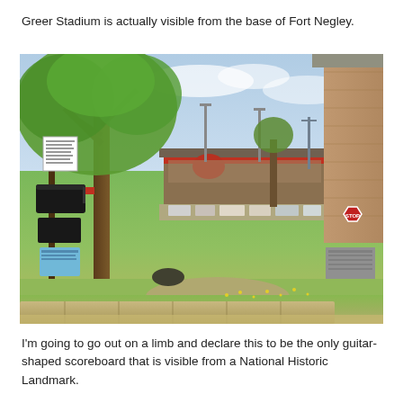Greer Stadium is actually visible from the base of Fort Negley.
[Figure (photo): Outdoor photograph showing Greer Stadium visible in the middle distance, with a large leafy tree in the foreground left, a mailbox on a post at lower left, a brick building at right, green grass and a stone wall in the foreground, and a partly cloudy sky.]
I'm going to go out on a limb and declare this to be the only guitar-shaped scoreboard that is visible from a National Historic Landmark.